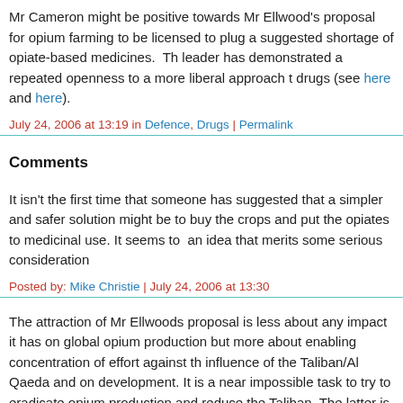Mr Cameron might be positive towards Mr Ellwood's proposal for opium farming to be licensed to plug a suggested shortage of opiate-based medicines. The leader has demonstrated a repeated openness to a more liberal approach to drugs (see here and here).
July 24, 2006 at 13:19 in Defence, Drugs | Permalink
Comments
It isn't the first time that someone has suggested that a simpler and safer solution might be to buy the crops and put the opiates to medicinal use. It seems to be an idea that merits some serious consideration
Posted by: Mike Christie | July 24, 2006 at 13:30
The attraction of Mr Ellwoods proposal is less about any impact it has on global opium production but more about enabling concentration of effort against the influence of the Taliban/Al Qaeda and on development. It is a near impossible task to try to eradicate opium production and reduce the Taliban. The latter is a higher priority task so this proposal is worth consideration.
The transformation of Turkish opium production to legal status has radically